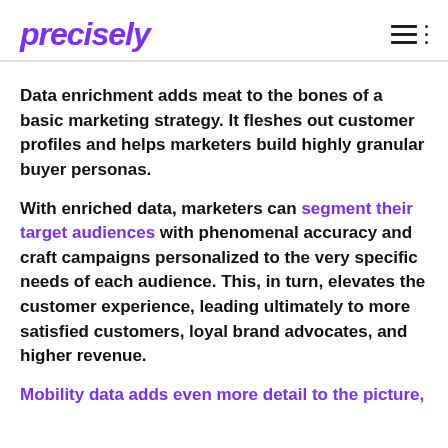precisely
Data enrichment adds meat to the bones of a basic marketing strategy. It fleshes out customer profiles and helps marketers build highly granular buyer personas.
With enriched data, marketers can segment their target audiences with phenomenal accuracy and craft campaigns personalized to the very specific needs of each audience. This, in turn, elevates the customer experience, leading ultimately to more satisfied customers, loyal brand advocates, and higher revenue.
Mobility data adds even more detail to the picture,